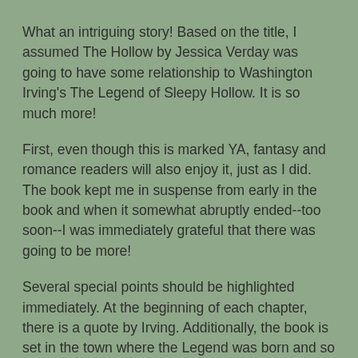What an intriguing story! Based on the title, I assumed The Hollow by Jessica Verday was going to have some relationship to Washington Irving's The Legend of Sleepy Hollow. It is so much more!
First, even though this is marked YA, fantasy and romance readers will also enjoy it, just as I did. The book kept me in suspense from early in the book and when it somewhat abruptly ended--too soon--I was immediately grateful that there was going to be more!
Several special points should be highlighted immediately. At the beginning of each chapter, there is a quote by Irving. Additionally, the book is set in the town where the Legend was born and so there is a constant flow of information and discussion about the characters in that book. Additionally, the book itself has been beautifully covered and printed. This is a book you'll want to keep as part of your home library! I'm hoping that this is a first in a series that just could be as popular as that set of books coming out of England, but this